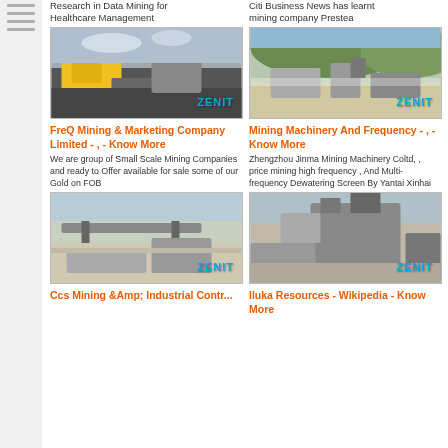Research in Data Mining for Healthcare Management
Citi Business News has learnt mining company Prestea
[Figure (photo): Mining equipment with yellow machinery on dark ground, ZENIT watermark]
[Figure (photo): Open-pit mine with processing equipment against green hills, ZENIT watermark]
FreQ Mining & Marketing Company Limited - , - Know More
Mining Machinery And Frequency - , - Know More
We are group of Small Scale Mining Companies and ready to Offer available for sale some of our Gold on FOB
Zhengzhou Jinma Mining Machinery Coltd, , price mining high frequency , And Multi-frequency Dewatering Screen By Yantai Xinhai
[Figure (photo): Mining conveyor belt system with processing plant, ZENIT watermark]
[Figure (photo): Large industrial mining crusher equipment in outdoor setting, ZENIT watermark]
Ccs Mining &Amp; Industrial Contr...
Iluka Resources - Wikipedia - Know More